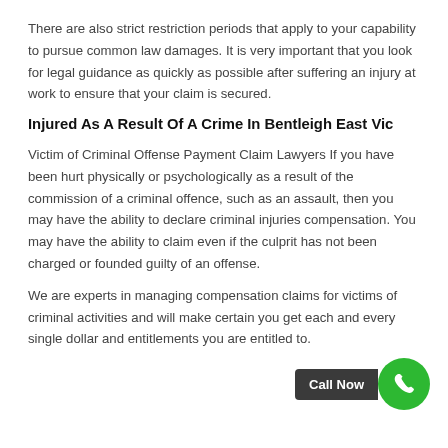There are also strict restriction periods that apply to your capability to pursue common law damages. It is very important that you look for legal guidance as quickly as possible after suffering an injury at work to ensure that your claim is secured.
Injured As A Result Of A Crime In Bentleigh East Vic
Victim of Criminal Offense Payment Claim Lawyers If you have been hurt physically or psychologically as a result of the commission of a criminal offence, such as an assault, then you may have the ability to declare criminal injuries compensation. You may have the ability to claim even if the culprit has not been charged or founded guilty of an offense.
We are experts in managing compensation claims for victims of criminal activities and will make certain you get each and every single dollar and entitlements you are entitled to.